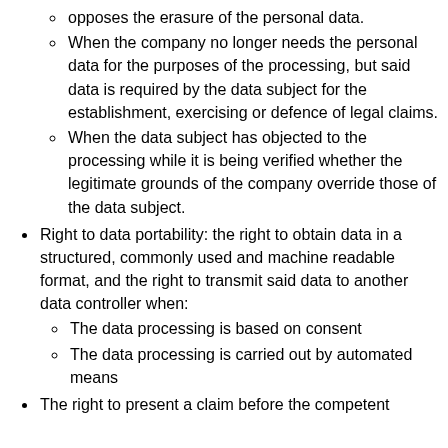opposes the erasure of the personal data.
When the company no longer needs the personal data for the purposes of the processing, but said data is required by the data subject for the establishment, exercising or defence of legal claims.
When the data subject has objected to the processing while it is being verified whether the legitimate grounds of the company override those of the data subject.
Right to data portability: the right to obtain data in a structured, commonly used and machine readable format, and the right to transmit said data to another data controller when:
The data processing is based on consent
The data processing is carried out by automated means
The right to present a claim before the competent